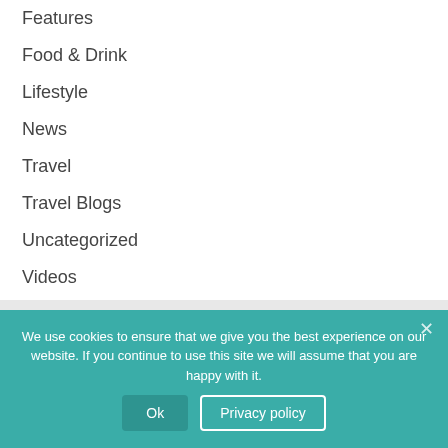Features
Food & Drink
Lifestyle
News
Travel
Travel Blogs
Uncategorized
Videos
We use cookies to ensure that we give you the best experience on our website. If you continue to use this site we will assume that you are happy with it.
Ok  Privacy policy